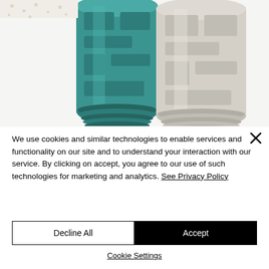[Figure (photo): Two rolls of wallpaper — one teal/green with geometric block pattern and one gray/beige with similar pattern — rolled up and resting on a white surface, photographed from above at an angle.]
We use cookies and similar technologies to enable services and functionality on our site and to understand your interaction with our service. By clicking on accept, you agree to our use of such technologies for marketing and analytics. See Privacy Policy
Decline All
Accept
Cookie Settings